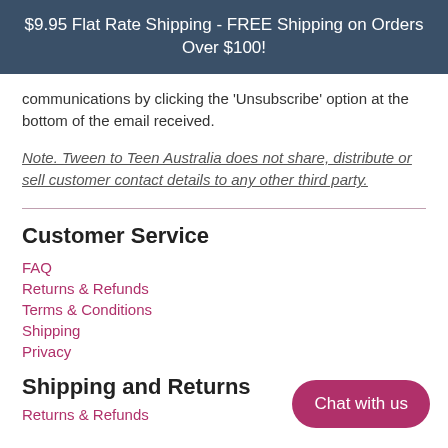$9.95 Flat Rate Shipping - FREE Shipping on Orders Over $100!
communications by clicking the 'Unsubscribe' option at the bottom of the email received.
Note. Tween to Teen Australia does not share, distribute or sell customer contact details to any other third party.
Customer Service
FAQ
Returns & Refunds
Terms & Conditions
Shipping
Privacy
Shipping and Returns
Returns & Refunds